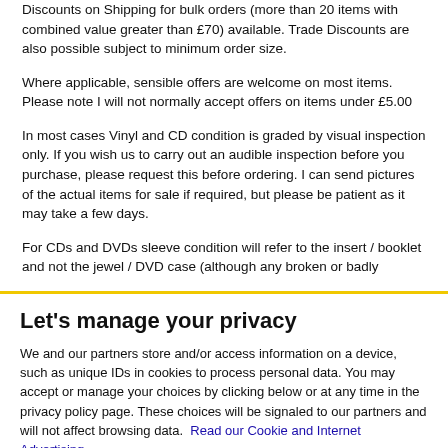Discounts on Shipping for bulk orders (more than 20 items with combined value greater than £70) available. Trade Discounts are also possible subject to minimum order size.
Where applicable, sensible offers are welcome on most items. Please note I will not normally accept offers on items under £5.00
In most cases Vinyl and CD condition is graded by visual inspection only. If you wish us to carry out an audible inspection before you purchase, please request this before ordering. I can send pictures of the actual items for sale if required, but please be patient as it may take a few days.
For CDs and DVDs sleeve condition will refer to the insert / booklet and not the jewel / DVD case (although any broken or badly...
Let's manage your privacy
We and our partners store and/or access information on a device, such as unique IDs in cookies to process personal data. You may accept or manage your choices by clicking below or at any time in the privacy policy page. These choices will be signaled to our partners and will not affect browsing data. Read our Cookie and Internet Advertising